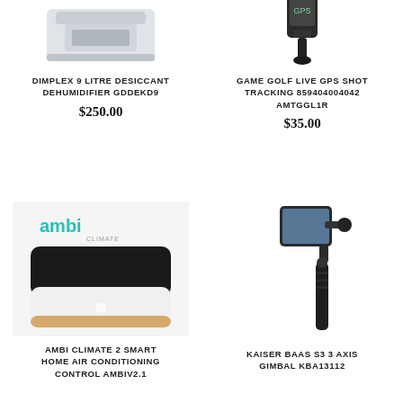[Figure (photo): Dimplex 9 litre desiccant dehumidifier product photo - white rectangular device]
DIMPLEX 9 LITRE DESICCANT DEHUMIDIFIER GDDEKD9
$250.00
[Figure (photo): Game Golf Live GPS Shot Tracking device product photo]
GAME GOLF LIVE GPS SHOT TRACKING 859404004042 AMTGGL1R
$35.00
[Figure (photo): Ambi Climate 2 smart home air conditioning controller - white square device with Ambi Climate logo]
AMBI CLIMATE 2 SMART HOME AIR CONDITIONING CONTROL AMBIV2.1
[Figure (photo): Kaiser Baas S3 3 Axis Gimbal KBA13112 - handheld phone gimbal stabilizer]
KAISER BAAS S3 3 AXIS GIMBAL KBA13112